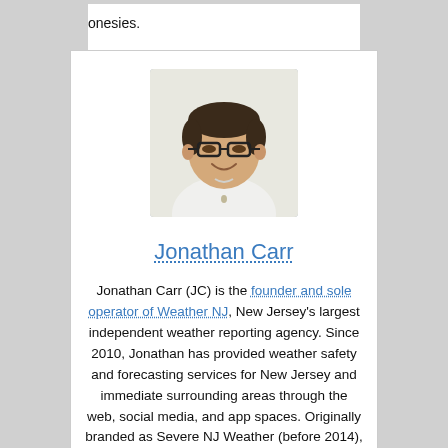onesies.
[Figure (photo): Headshot photo of Jonathan Carr, a man with glasses and short dark hair, wearing a white shirt, smiling against a light background.]
Jonathan Carr
Jonathan Carr (JC) is the founder and sole operator of Weather NJ, New Jersey's largest independent weather reporting agency. Since 2010, Jonathan has provided weather safety and forecasting services for New Jersey and immediate surrounding areas through the web, social media, and app spaces. Originally branded as Severe NJ Weather (before 2014), Weather NJ is proud to bring you accurate and responsible discussions ahead of high-stakes weather scenarios that impact the garden state. All Weather. All New Jersey.™